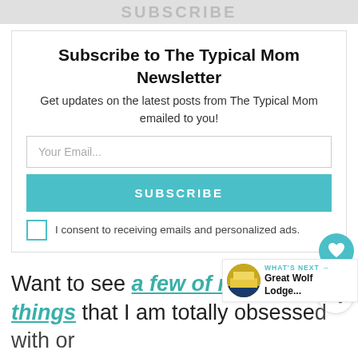[Figure (other): Top banner with stylized 'SUBSCRIBE' text in gray]
Subscribe to The Typical Mom Newsletter
Get updates on the latest posts from The Typical Mom emailed to you!
Your Email...
SUBSCRIBE
I consent to receiving emails and personalized ads.
Want to see a few of my favorite things that I am totally obsessed with or
[Figure (other): What's Next thumbnail showing Great Wolf Lodge with teal label]
WHAT'S NEXT → Great Wolf Lodge...